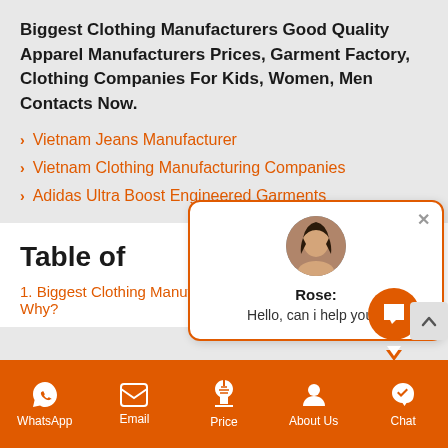Biggest Clothing Manufacturers Good Quality Apparel Manufacturers Prices, Garment Factory, Clothing Companies For Kids, Women, Men Contacts Now.
Vietnam Jeans Manufacturer
Vietnam Clothing Manufacturing Companies
Adidas Ultra Boost Engineered Garments
Table of
1. Biggest Clothing Manufacturers - , Why?
[Figure (screenshot): Chat popup with avatar of a woman named Rose, message 'Hello, can i help you?', with close button and orange border]
WhatsApp | Email | Price | About Us | Chat